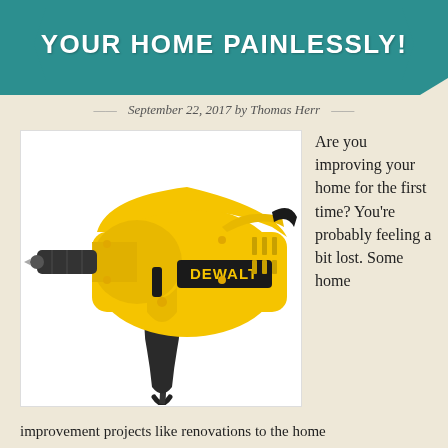YOUR HOME PAINLESSLY!
September 22, 2017 by Thomas Herr
[Figure (photo): A yellow DeWalt electric hand drill on white background]
Are you improving your home for the first time? You’re probably feeling a bit lost. Some home
improvement projects like renovations to the home